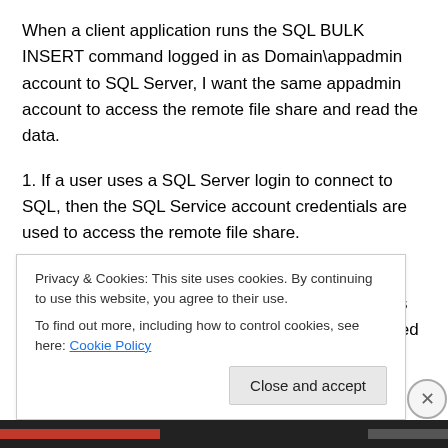When a client application runs the SQL BULK INSERT command logged in as Domain\appadmin account to SQL Server, I want the same appadmin account to access the remote file share and read the data.
1. If a user uses a SQL Server login to connect to SQL, then the SQL Service account credentials are used to access the remote file share.
2. If a user uses a Windows account, then his own account is used to access the file share and for this to work successfully, delegation has to be configured
Privacy & Cookies: This site uses cookies. By continuing to use this website, you agree to their use.
To find out more, including how to control cookies, see here: Cookie Policy